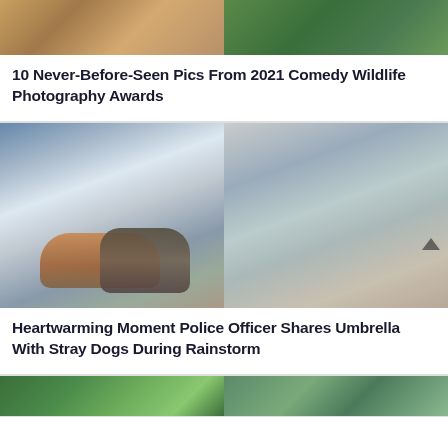[Figure (photo): Two side-by-side wildlife photos at the top, partially visible — left shows a fox on sandy ground, right shows a dark animal in green grass]
10 Never-Before-Seen Pics From 2021 Comedy Wildlife Photography Awards
[Figure (photo): Two side-by-side photos of a police officer in white uniform holding a blue-and-white KP umbrella in heavy rain, with two stray dogs sheltering underneath. Left photo shows the officer and dogs from slightly farther; right photo shows the dogs from the front with the officer standing behind.]
Heartwarming Moment Police Officer Shares Umbrella With Stray Dogs During Rainstorm
[Figure (photo): Two side-by-side photos partially visible at the bottom of the page, showing people in green foliage]